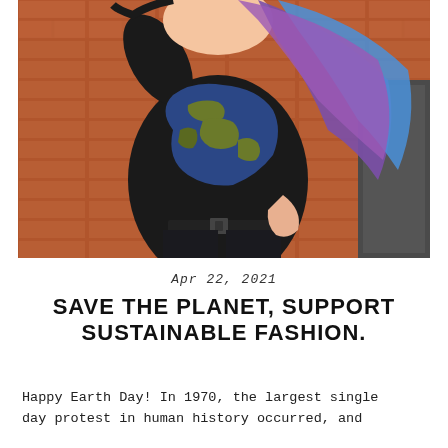[Figure (photo): A person with colorful purple and blue ombre hair wearing a black t-shirt with a large earth globe graphic (blue and olive green heart-shaped world map) standing in front of a red brick wall, posing with arm raised.]
Apr 22, 2021
SAVE THE PLANET, SUPPORT SUSTAINABLE FASHION.
Happy Earth Day! In 1970, the largest single day protest in human history occurred, and